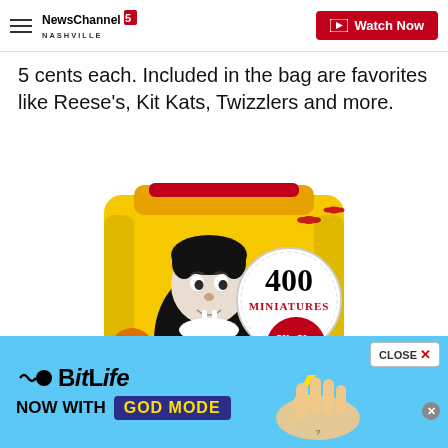NewsChannel 5 Nashville | Watch Now
5 cents each. Included in the bag are favorites like Reese's, Kit Kats, Twizzlers and more.
[Figure (photo): Halloween candy bag with 400 miniatures including Reese's, Kit Kat, Jolly Rancher, Whoppers, featuring a vampire cartoon character on a yellow bag]
[Figure (advertisement): BitLife mobile game ad - Now with GOD MODE, featuring cartoon hands on a light blue background]